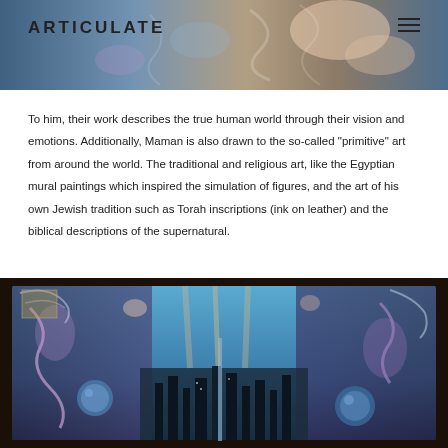[Figure (illustration): Header image showing a colorful, detailed artwork with human figures, swirling patterns in blues, purples, and warm tones. 'ARTICULATE' logo text overlaid on left, hamburger menu icon on right.]
To him, their work describes the true human world through their vision and emotions. Additionally, Maman is also drawn to the so-called “primitive” art from around the world. The traditional and religious art, like the Egyptian mural paintings which inspired the simulation of figures, and the art of his own Jewish tradition such as Torah inscriptions (ink on leather) and the biblical descriptions of the supernatural.
[Figure (illustration): Bottom image showing a large detailed artwork with a cityscape at center, surrounded by fantastical figures, cosmic elements including blue orbs/moons, swirling purple and blue tones with intricate patterns, set in a dark wooden frame.]